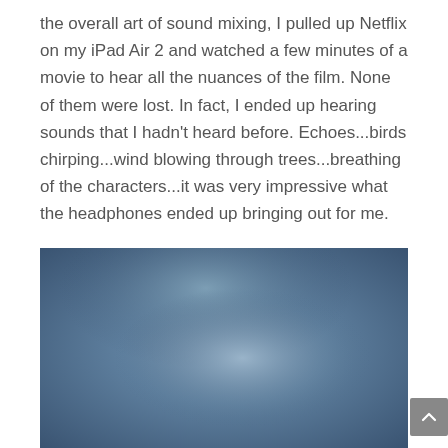the overall art of sound mixing, I pulled up Netflix on my iPad Air 2 and watched a few minutes of a movie to hear all the nuances of the film. None of them were lost. In fact, I ended up hearing sounds that I hadn't heard before. Echoes...birds chirping...wind blowing through trees...breathing of the characters...it was very impressive what the headphones ended up bringing out for me.
[Figure (photo): A blurred blue-grey gradient image, likely a blurred photo of a sky or outdoor scene, appears as a rectangular block in the lower portion of the page.]